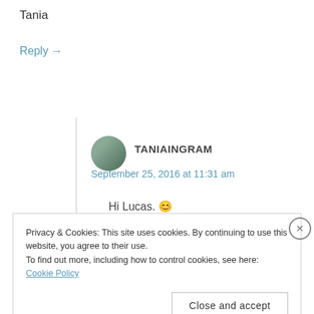Tania
Reply →
TANIAINGRAM
September 25, 2016 at 11:31 am
Hi Lucas. 😊
Privacy & Cookies: This site uses cookies. By continuing to use this website, you agree to their use.
To find out more, including how to control cookies, see here: Cookie Policy